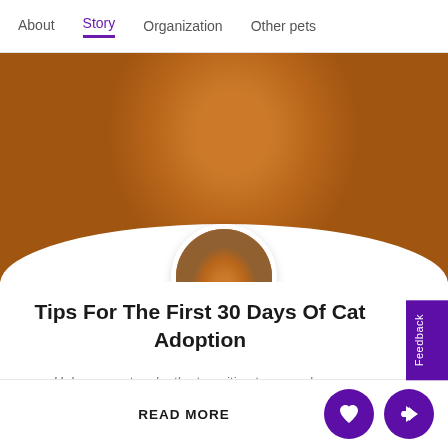About   Story   Organization   Other pets
[Figure (photo): Orange tabby cat being petted by a person in a red-striped shirt, lying on a light blanket. A circular avatar thumbnail shows the same cat scene.]
Tips For The First 30 Days Of Cat Adoption
Help your cat make the transition to a new home.
READ MORE